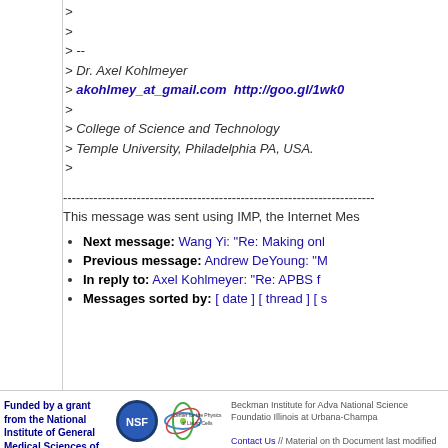> 
> 
> --
> Dr. Axel Kohlmeyer
> akohlmey_at_gmail.com  http://goo.gl/1wk0
> 
> College of Science and Technology
> Temple University, Philadelphia PA, USA.
>
------------------------------------------------------------------------
This message was sent using IMP, the Internet Mes
Next message: Wang Yi: "Re: Making onl
Previous message: Andrew DeYoung: "M
In reply to: Axel Kohlmeyer: "Re: APBS f
Messages sorted by: [ date ] [ thread ] [ s
Funded by a grant from the National Institute of General Medical Sciences of the National Institutes of Health
Beckman Institute for Adva National Science Foundatio Illinois at Urbana-Champa

Contact Us // Material on th Document last modified on C